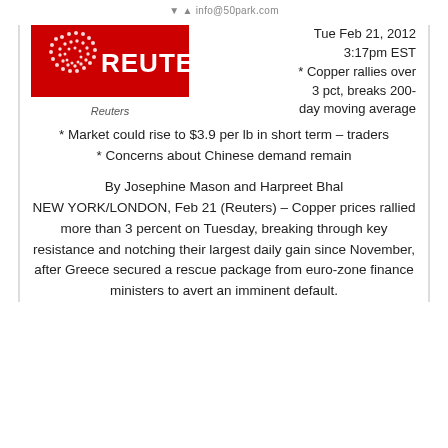info@50park.com
[Figure (logo): Reuters logo — red rectangle with white circular dot pattern and white bold REUTERS text]
Reuters
Tue Feb 21, 2012 3:17pm EST * Copper rallies over 3 pct, breaks 200-day moving average
* Market could rise to $3.9 per lb in short term – traders
* Concerns about Chinese demand remain
By Josephine Mason and Harpreet Bhal
NEW YORK/LONDON, Feb 21 (Reuters) – Copper prices rallied more than 3 percent on Tuesday, breaking through key resistance and notching their largest daily gain since November, after Greece secured a rescue package from euro-zone finance ministers to avert an imminent default.